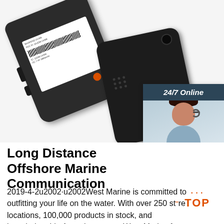[Figure (photo): Photo of a Baofeng handheld radio/walkie-talkie showing the back with battery and label, and a separated battery cover, on white background. Also includes a 24/7 Online customer service widget with a woman wearing a headset.]
Long Distance Offshore Marine Communication
2019-4-2u2002·u2002West Marine is committed to outfitting your life on the water. With over 250 store locations, 100,000 products in stock, and knowledgeable Associates, trust West Marine for your boating, sailing, fishing, or paddling needs. Shop with